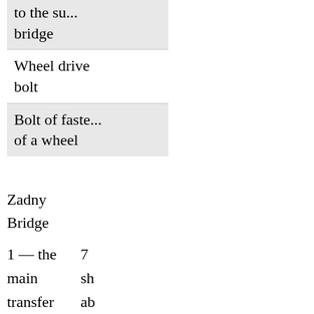| to the su...
bridge |
| Wheel drive bolt |
| Bolt of faste...
of a wheel |
Zadny Bridge
1 — the main transfer
7 sh ab
2 — a cable of the parking brake
8 be su of ba
3 — a half shaft
brake
4 — a brake disk
9 dr
10
5 — the
st